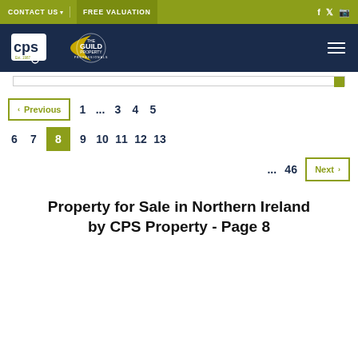CONTACT US  FREE VALUATION
[Figure (logo): CPS Property logo and The Guild Property Professionals logo on dark navy background]
< Previous  1  ...  3  4  5
6  7  8  9  10  11  12  13
...  46  Next >
Property for Sale in Northern Ireland by CPS Property - Page 8